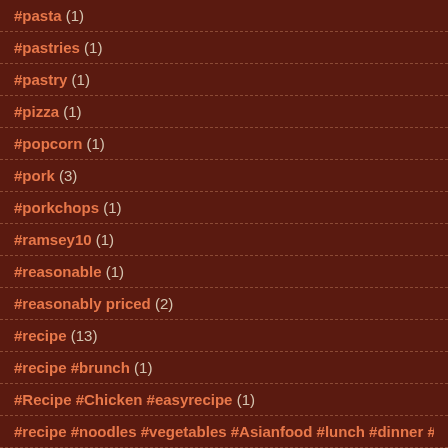#pasta (1)
#pastries (1)
#pastry (1)
#pizza (1)
#popcorn (1)
#pork (3)
#porkchops (1)
#ramsey10 (1)
#reasonable (1)
#reasonably priced (2)
#recipe (13)
#recipe #brunch (1)
#Recipe #Chicken #easyrecipe (1)
#recipe #noodles #vegetables #Asianfood #lunch #dinner #cooking #food
#recipes (2)
#restaurant (49)
#restaurant #babuji #eastvillagerestaurants #indianfood (1)
#Restaurant #Thai seafood (1)